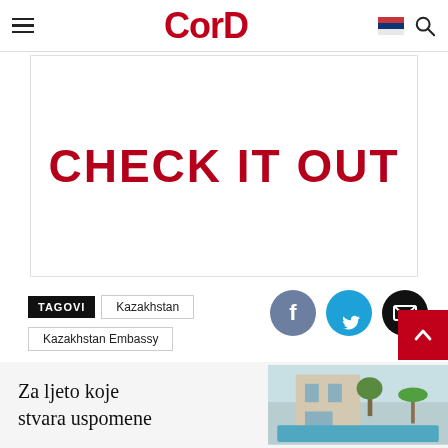CorD
[Figure (screenshot): White banner with large red bold text CHECK IT OUT]
TAGOVI  Kazakhstan  Kazakhstan Embassy
[Figure (infographic): Social share icons: Facebook (blue-grey circle), Twitter (cyan circle), Email (black circle)]
[Figure (other): Red back-to-top button with upward chevron arrow]
[Figure (other): Ad banner: Za ljeto koje stvara uspomene, with image of building/pool on right]